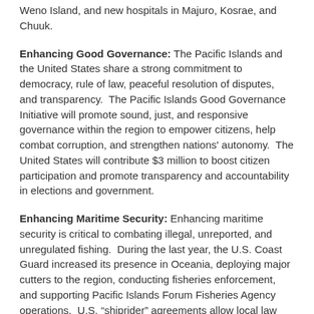Weno Island, and new hospitals in Majuro, Kosrae, and Chuuk.
Enhancing Good Governance: The Pacific Islands and the United States share a strong commitment to democracy, rule of law, peaceful resolution of disputes, and transparency.  The Pacific Islands Good Governance Initiative will promote sound, just, and responsive governance within the region to empower citizens, help combat corruption, and strengthen nations' autonomy.  The United States will contribute $3 million to boost citizen participation and promote transparency and accountability in elections and government.
Enhancing Maritime Security: Enhancing maritime security is critical to combating illegal, unreported, and unregulated fishing.  During the last year, the U.S. Coast Guard increased its presence in Oceania, deploying major cutters to the region, conducting fisheries enforcement, and supporting Pacific Islands Forum Fisheries Agency operations.  U.S. “shiprider” agreements allow local law enforcement officers to embark on U.S. Coast Guard (USCG) vessels, including to board and search vessels suspected of violating laws or regulations.  The United States has 11 shiprider agreements, with the Cook Islands, the Federated States of Micronesia, Fiji, Kiribati, Nauru, Palau, the Marshall Islands, Samoa, Tonga, Tuvalu, and Vanuatu.  In the past year, the Coast Guard exercised six of the 11 agreements, most recently with Fiji in Dec 2018.  The Coast Guard intends to increase operations in Oceania to advance